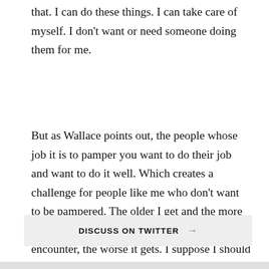that. I can do these things. I can take care of myself. I don't want or need someone doing them for me.
But as Wallace points out, the people whose job it is to pamper you want to do their job and want to do it well. Which creates a challenge for people like me who don't want to be pampered. The older I get and the more set in my ways and the more pampering I encounter, the worse it gets. I suppose I should just learn to love it. I will work on that.
DISCUSS ON TWITTER →